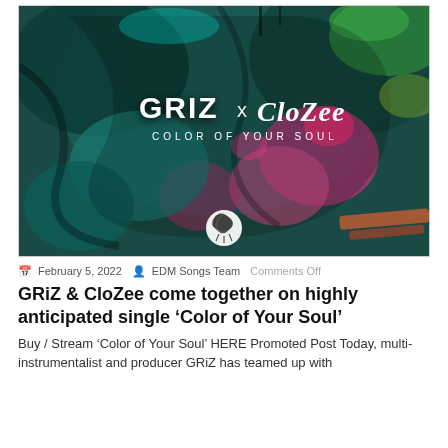[Figure (illustration): Album artwork for 'Color of Your Soul' by GRiZ x CloZee. A vivid, psychedelic abstract painting with teal, pink, magenta, and black swirling organic shapes. The text 'GRIZ x CloZee' appears in white stylized lettering in the upper-center area, with 'COLOR OF YOUR SOUL' in smaller white text below. A black-and-white circular logo appears near the bottom-center.]
February 5, 2022  EDM Songs Team  Comments Off
GRiZ & CloZee come together on highly anticipated single 'Color of Your Soul'
Buy / Stream 'Color of Your Soul' HERE Promoted Post Today, multi-instrumentalist and producer GRiZ has teamed up with